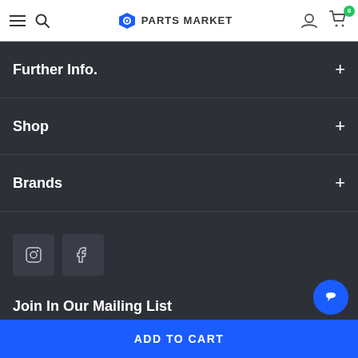Parts Market
Further Info.
Shop
Brands
[Figure (other): Social media icon buttons: Instagram and Facebook]
Join In Our Mailing List
ADD TO CART